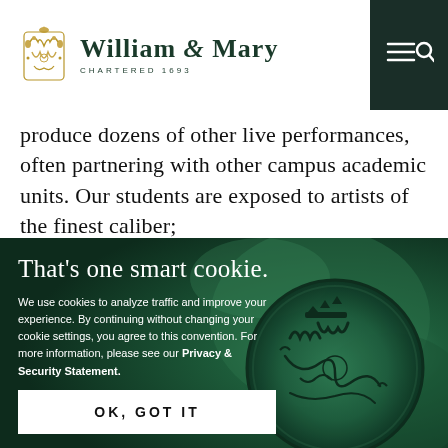William & Mary — Chartered 1693
produce dozens of other live performances, often partnering with other campus academic units. Our students are exposed to artists of the finest caliber;
That's one smart cookie.
We use cookies to analyze traffic and improve your experience. By continuing without changing your cookie settings, you agree to this convention. For more information, please see our Privacy & Security Statement.
[Figure (illustration): William & Mary royal wax seal with W&M monogram and crown, rendered in dark green on green textured background]
OK, GOT IT